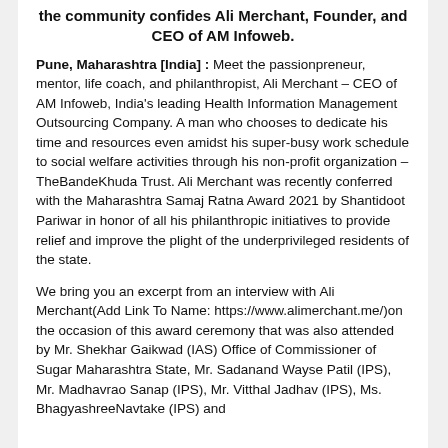the community confides Ali Merchant, Founder, and CEO of AM Infoweb.
Pune, Maharashtra [India] : Meet the passionpreneur, mentor, life coach, and philanthropist, Ali Merchant – CEO of AM Infoweb, India's leading Health Information Management Outsourcing Company. A man who chooses to dedicate his time and resources even amidst his super-busy work schedule to social welfare activities through his non-profit organization – TheBandeKhuda Trust. Ali Merchant was recently conferred with the Maharashtra Samaj Ratna Award 2021 by Shantidoot Pariwar in honor of all his philanthropic initiatives to provide relief and improve the plight of the underprivileged residents of the state.
We bring you an excerpt from an interview with Ali Merchant(Add Link To Name: https://www.alimerchant.me/)on the occasion of this award ceremony that was also attended by Mr. Shekhar Gaikwad (IAS) Office of Commissioner of Sugar Maharashtra State, Mr. Sadanand Wayse Patil (IPS), Mr. Madhavrao Sanap (IPS), Mr. Vitthal Jadhav (IPS), Ms. BhagyashreeNavtake (IPS) and